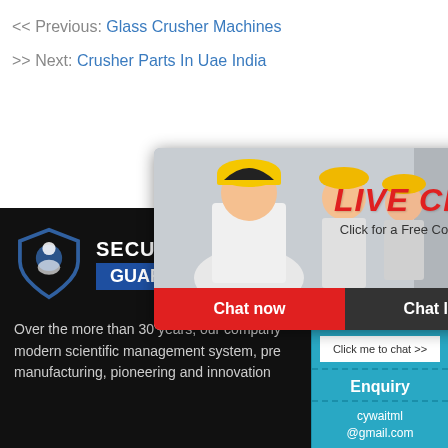<< Previous: Glass Crusher Machines
>> Next: Crusher Parts In Uae India
[Figure (screenshot): Live chat popup overlay showing workers in hard hats with 'LIVE CHAT' red text, 'Click for a Free Consultation', Chat now (red) and Chat later (dark) buttons]
[Figure (screenshot): Right-side chat widget panel in blue/teal with smiley face emoji wearing headset, showing '7 hours online', 'Click me to chat >>', 'Enquiry', 'cywaitml @gmail.com']
[Figure (logo): Security Guard logo/badge with shield icon and 'SECURITY GUARD' text on dark background]
Over the more than 30 years, our company modern scientific management system, pre manufacturing, pioneering and innovation